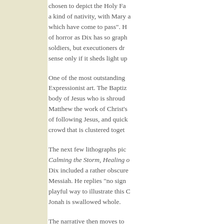chosen to depict the Holy Fa a kind of nativity, with Mary a which have come to pass". H of horror as Dix has so graph soldiers, but executioners dr sense only if it sheds light up
One of the most outstanding Expressionist art. The Baptiz body of Jesus who is shroud Matthew the work of Christ's of following Jesus, and quick crowd that is clustered toget
The next few lithographs pic Calming the Storm, Healing o Dix included a rather obscure Messiah. He replies “no sign playful way to illustrate this C Jonah is swallowed whole.
The narrative then moves to as she flaunts John’s head o miracles, Feeding the Five T